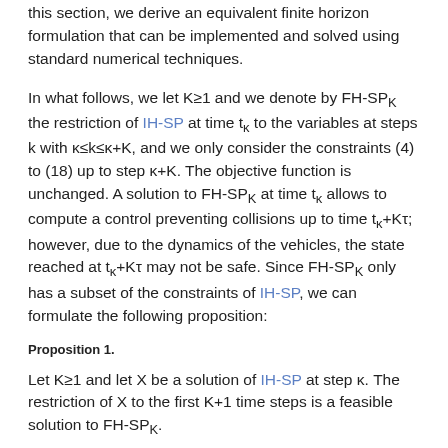this section, we derive an equivalent finite horizon formulation that can be implemented and solved using standard numerical techniques.
In what follows, we let K≥1 and we denote by FH-SP_K the restriction of IH-SP at time t_κ to the variables at steps k with κ≤k≤κ+K, and we only consider the constraints (4) to (18) up to step κ+K. The objective function is unchanged. A solution to FH-SP_K at time t_κ allows to compute a control preventing collisions up to time t_κ+Kτ; however, due to the dynamics of the vehicles, the state reached at t_κ+Kτ may not be safe. Since FH-SP_K only has a subset of the constraints of IH-SP, we can formulate the following proposition:
Proposition 1.
Let K≥1 and let X be a solution of IH-SP at step κ. The restriction of X to the first K+1 time steps is a feasible solution to FH-SP_K.
Using the global bounds u_a, u_b, u_max and v_max defined in section III-A4, we will now prove a reciprocal implication to proposition 1: if K is chosen large enough, any solution of